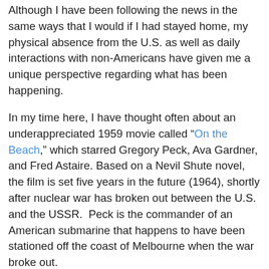Although I have been following the news in the same ways that I would if I had stayed home, my physical absence from the U.S. as well as daily interactions with non-Americans have given me a unique perspective regarding what has been happening.
In my time here, I have thought often about an underappreciated 1959 movie called "On the Beach," which starred Gregory Peck, Ava Gardner, and Fred Astaire. Based on a Nevil Shute novel, the film is set five years in the future (1964), shortly after nuclear war has broken out between the U.S. and the USSR. Peck is the commander of an American submarine that happens to have been stationed off the coast of Melbourne when the war broke out.
The movie thus shows people in Australia who know that they are doomed. They know from reports (and the subsequent lack of response to attempts to communicate) that the nuclear holocaust has apparently killed everyone in the northern hemisphere. Now, they are simply trying to live everyday life as normally as possible, knowing that they have at most several months to live before radiation...